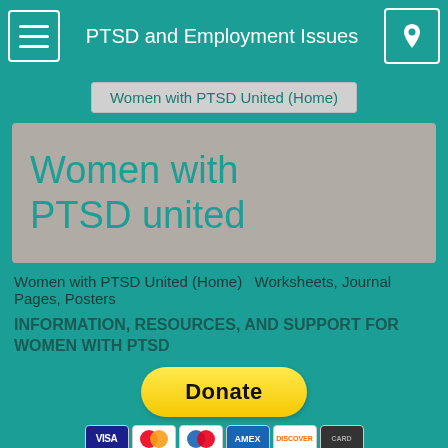PTSD and Employment Issues
Women with PTSD United (Home)
[Figure (logo): Women with PTSD United logo — handwritten-style teal text on grey background reading 'Women with PTSD united']
Women with PTSD United (Home)   Worksheets, Journal Pages, Posters
INFORMATION, RESOURCES, AND SUPPORT FOR WOMEN WITH PTSD
[Figure (other): PayPal Donate button (yellow rounded rectangle) with payment card icons below: Visa, Mastercard, Maestro, Amex, Discover, and one more]
[Figure (photo): Bottom portion of page showing a teal/cyan gradient image partially visible]